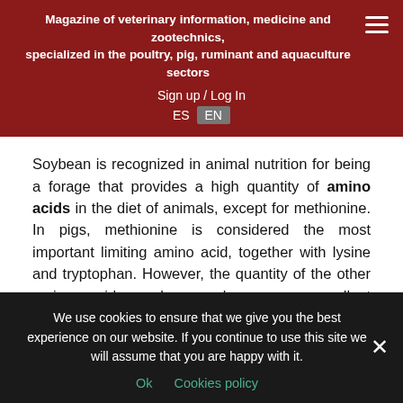Magazine of veterinary information, medicine and zootechnics, specialized in the poultry, pig, ruminant and aquaculture sectors
Sign up / Log In
ES EN
Soybean is recognized in animal nutrition for being a forage that provides a high quantity of amino acids in the diet of animals, except for methionine. In pigs, methionine is considered the most important limiting amino acid, together with lysine and tryptophan. However, the quantity of the other amino acids makes soybeans an excellent nutritional choice.
In terms of energy, soybean contains a higher energy
We use cookies to ensure that we give you the best experience on our website. If you continue to use this site we will assume that you are happy with it.
Ok   Cookies policy